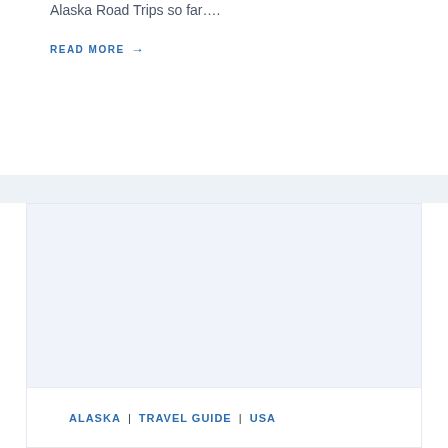Alaska Road Trips so far….
READ MORE →
[Figure (photo): Placeholder image area for a travel blog card, light blue-gray background]
ALASKA | TRAVEL GUIDE | USA